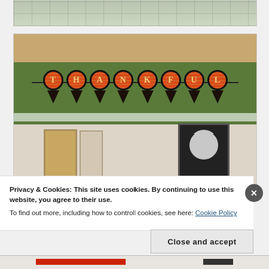[Figure (photo): Top partial photo showing a cutting mat with grid lines and what appears to be a ruler or craft tool]
[Figure (photo): Photo of a room interior with a green wall displaying a 'THANKFUL' banner made of circular letter ornaments on dark pennant triangles, hung near the ceiling. Below is a white ceiling section and a lower wall area with doors and a window.]
Privacy & Cookies: This site uses cookies. By continuing to use this website, you agree to their use.
To find out more, including how to control cookies, see here: Cookie Policy
Close and accept